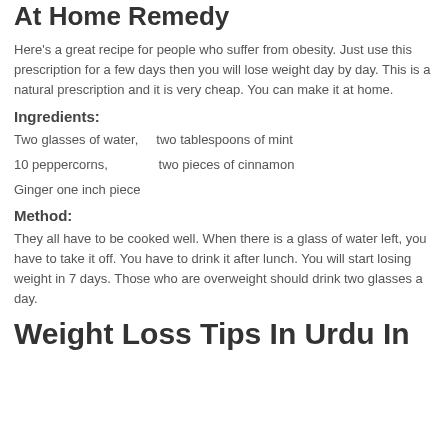At Home Remedy
Here's a great recipe for people who suffer from obesity. Just use this prescription for a few days then you will lose weight day by day. This is a natural prescription and it is very cheap. You can make it at home.
Ingredients:
Two glasses of water,    two tablespoons of mint
10 peppercorns,             two pieces of cinnamon
Ginger one inch piece
Method:
They all have to be cooked well. When there is a glass of water left, you have to take it off. You have to drink it after lunch. You will start losing weight in 7 days. Those who are overweight should drink two glasses a day.
Weight Loss Tips In Urdu In